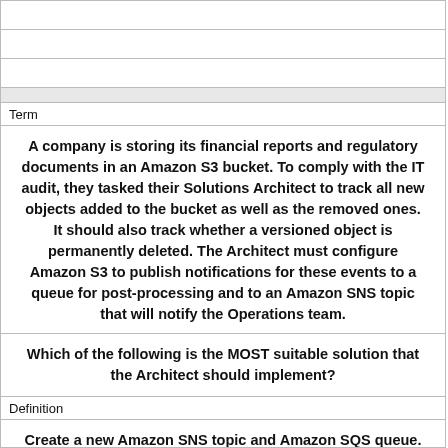Term
A company is storing its financial reports and regulatory documents in an Amazon S3 bucket. To comply with the IT audit, they tasked their Solutions Architect to track all new objects added to the bucket as well as the removed ones. It should also track whether a versioned object is permanently deleted. The Architect must configure Amazon S3 to publish notifications for these events to a queue for post-processing and to an Amazon SNS topic that will notify the Operations team.
Which of the following is the MOST suitable solution that the Architect should implement?
Definition
Create a new Amazon SNS topic and Amazon SQS queue. Add an S3 event notification configuration on the bucket to publish s3:ObjectCreated:* and s3:ObjectRemoved:Delete